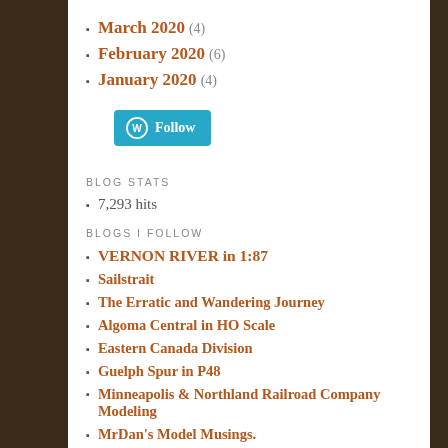March 2020 (4)
February 2020 (6)
January 2020 (4)
[Figure (other): WordPress Follow button in teal/blue color]
BLOG STATS
7,293 hits
BLOGS I FOLLOW
VERNON RIVER in 1:87
Sailstrait
The Erratic and Wandering Journey
Algoma Central in HO Scale
Eastern Canada Division
Guelph Spur in P48
Minneapolis & Northland Railroad Company Modeling
MrDan's Model Musings.
The Niagara Branch